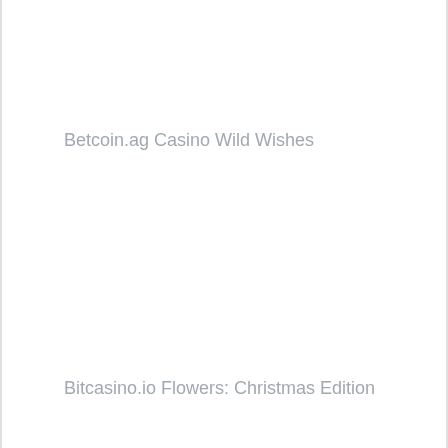Betcoin.ag Casino Wild Wishes
Bitcasino.io Flowers: Christmas Edition
Syndicate Casino Little Pigs Strike Back
Bitcoin Penguin Casino Monster Munchies